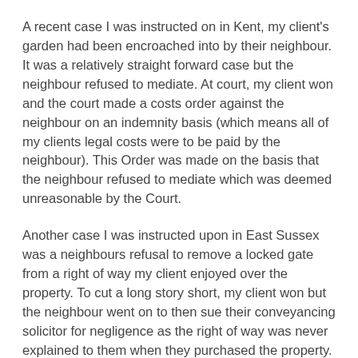A recent case I was instructed on in Kent, my client's garden had been encroached into by their neighbour. It was a relatively straight forward case but the neighbour refused to mediate. At court, my client won and the court made a costs order against the neighbour on an indemnity basis (which means all of my clients legal costs were to be paid by the neighbour). This Order was made on the basis that the neighbour refused to mediate which was deemed unreasonable by the Court.
Another case I was instructed upon in East Sussex was a neighbours refusal to remove a locked gate from a right of way my client enjoyed over the property. To cut a long story short, my client won but the neighbour went on to then sue their conveyancing solicitor for negligence as the right of way was never explained to them when they purchased the property.
Boundary disputes are complicated for many reasons. One reason is because Land Registry plans and OS Maps are only accurate to approximately, 1 metre. Therefore, what you may think is your boundary may actually not be. It sounds confusing